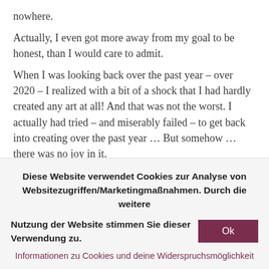nowhere.
Actually, I even got more away from my goal to be honest, than I would care to admit.
When I was looking back over the past year – over 2020 – I realized with a bit of a shock that I had hardly created any art at all! And that was not the worst. I actually had tried – and miserably failed – to get back into creating over the past year … But somehow … there was no joy in it.
And when I look at it now in retrospect it made me wonder …
Was it maybe – just maybe – that I put so much pressure on myself with that f******* course, that I totally lost my joy in
Diese Website verwendet Cookies zur Analyse von Websitezugriffen/Marketingmaßnahmen. Durch die weitere Nutzung der Website stimmen Sie dieser Verwendung zu.
Ok
Informationen zu Cookies und deine Widerspruchsmöglichkeit